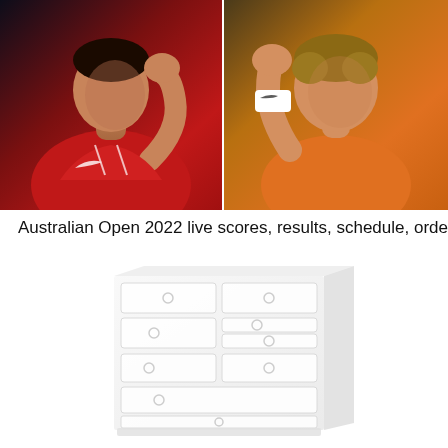[Figure (photo): Two tennis players celebrating with raised fists - left player in red Nike jersey, right player in orange sleeveless shirt with Nike wristband]
Australian Open 2022 live scores, results, schedule, order
[Figure (illustration): A white chest of drawers / dresser with multiple drawers featuring circular handles, rendered in a faded light style]